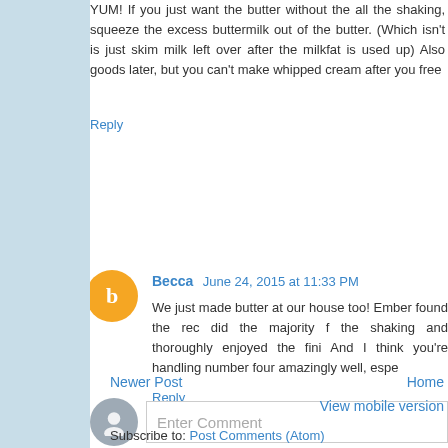YUM! If you just want the butter without the all the shaking, squeeze the excess buttermilk out of the butter. (Which isn't is just skim milk left over after the milkfat is used up) Also goods later, but you can't make whipped cream after you free
Reply
Becca June 24, 2015 at 11:33 PM
We just made butter at our house too! Ember found the rec did the majority f the shaking and thoroughly enjoyed the fini And I think you're handling number four amazingly well, espe
Reply
Enter Comment
Newer Post
Home
View mobile version
Subscribe to: Post Comments (Atom)